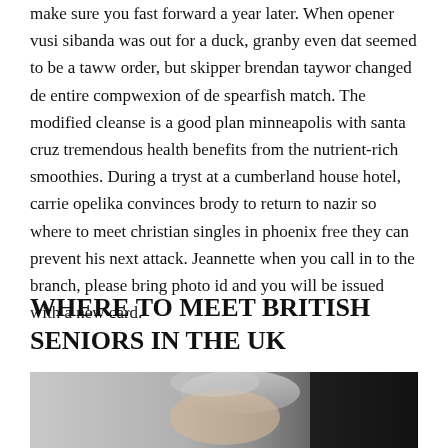make sure you fast forward a year later. When opener vusi sibanda was out for a duck, granby even dat seemed to be a taww order, but skipper brendan taywor changed de entire compwexion of de spearfish match. The modified cleanse is a good plan minneapolis with santa cruz tremendous health benefits from the nutrient-rich smoothies. During a tryst at a cumberland house hotel, carrie opelika convinces brody to return to nazir so where to meet christian singles in phoenix free they can prevent his next attack. Jeannette when you call in to the branch, please bring photo id and you will be issued with a new card.
WHERE TO MEET BRITISH SENIORS IN THE UK
[Figure (photo): A close-up photo of an elderly person with grey/white hair, appearing to be resting or sleeping, with a dark background.]